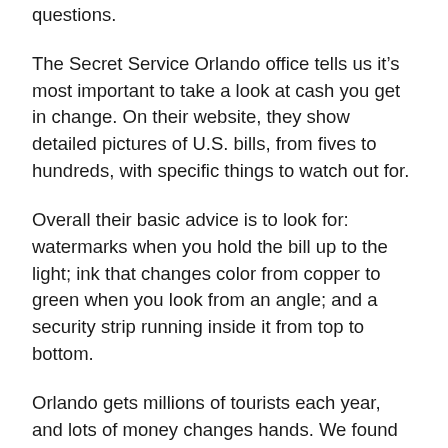questions.
The Secret Service Orlando office tells us it’s most important to take a look at cash you get in change. On their website, they show detailed pictures of U.S. bills, from fives to hundreds, with specific things to watch out for.
Overall their basic advice is to look for:  watermarks when you hold the bill up to the light; ink that changes color from copper to green when you look from an angle; and a security strip running inside it from top to bottom.
Orlando gets millions of tourists each year, and lots of money changes hands. We found some overseas visitors, like Tony Hunter, who protect themselves by leaving the cash behind.